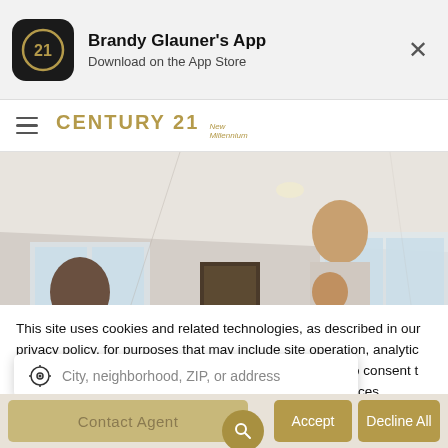Brandy Glauner's App — Download on the App Store
[Figure (logo): Century 21 New Millennium logo with hamburger menu]
[Figure (photo): Family of three smiling in a bright interior room with white walls and windows]
This site uses cookies and related technologies, as described in our privacy policy, for purposes that may include site operation, analytics, enhanced use to consent to ur own preferences.
City, neighborhood, ZIP, or address
Contact Agent
Accept
Decline All